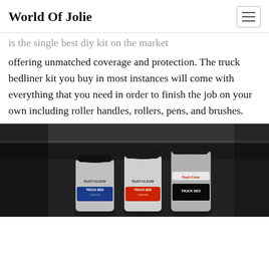World Of Jolie
is the single best diy kit on the market offering unmatched coverage and protection. The truck bedliner kit you buy in most instances will come with everything that you need in order to finish the job on your own including roller handles, rollers, pens, and brushes.
[Figure (photo): Three spray cans of truck bed coating products on a dark truck bed surface. Two cans are Rust-Oleum Truck Bed Coating and one is Dupli-Color Truck Bed coating.]